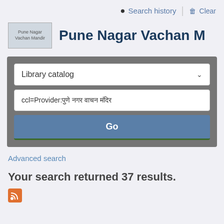Search history  Clear
[Figure (logo): Pune Nagar Vachan Mandir logo placeholder with text]
Pune Nagar Vachan M
[Figure (screenshot): Library catalog search interface with dropdown, text input showing 'ccl=Provider:[Marathi text]', and Go button]
Advanced search
Your search returned 37 results.
[Figure (other): RSS feed icon (orange square with RSS symbol)]